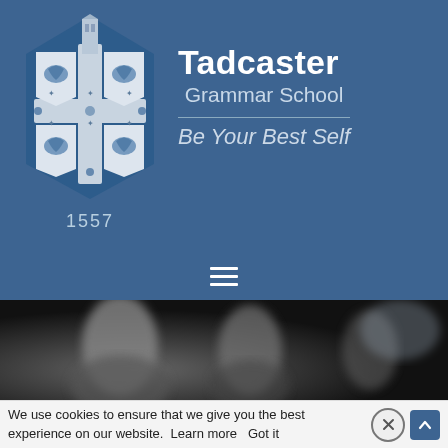[Figure (logo): Tadcaster Grammar School crest/shield with four quadrants, each containing a lion/animal figure, with a tower/spire above, on a blue polygonal background. Year 1557 below.]
Tadcaster Grammar School
Be Your Best Self
[Figure (photo): Blurred photograph of students in a classroom or school setting, dark background.]
We use cookies to ensure that we give you the best experience on our website.  Learn more   Got it